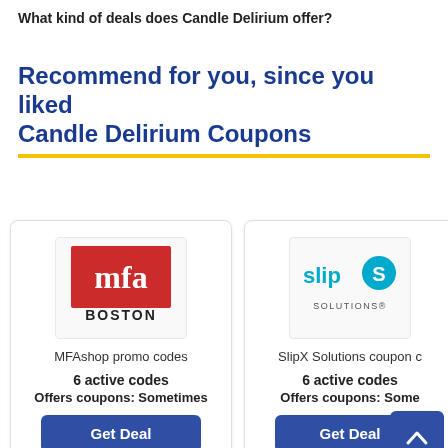What kind of deals does Candle Delirium offer?
Recommend for you, since you liked Candle Delirium Coupons
[Figure (logo): MFA Boston museum shop logo - red square with white 'mfa' text and 'BOSTON' below]
MFAshop promo codes
6 active codes
Offers coupons: Sometimes
Get Deal
[Figure (logo): SlipX Solutions logo - blue circle with S and X text, 'SOLUTIONS' below]
SlipX Solutions coupon c
6 active codes
Offers coupons: Some
Get Deal